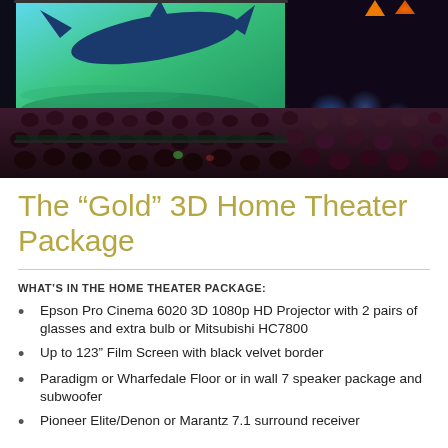[Figure (photo): A large cinema audience watching a 3D movie on a big screen showing a leaping dolphin/swordfish. The theater is dark with blue ambient lighting and orange accent lights at the top.]
The “Gold” 3D Home Theater Package
WHAT’S IN THE HOME THEATER PACKAGE:
Epson Pro Cinema 6020 3D 1080p HD Projector with 2 pairs of glasses and extra bulb or Mitsubishi HC7800
Up to 123” Film Screen with black velvet border
Paradigm or Wharfedale Floor or in wall 7 speaker package and subwoofer
Pioneer Elite/Denon or Marantz 7.1 surround receiver